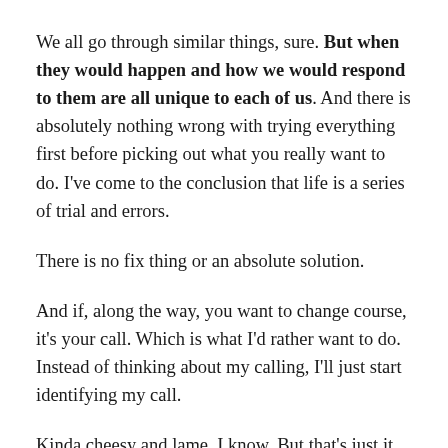We all go through similar things, sure. But when they would happen and how we would respond to them are all unique to each of us. And there is absolutely nothing wrong with trying everything first before picking out what you really want to do. I've come to the conclusion that life is a series of trial and errors.
There is no fix thing or an absolute solution.
And if, along the way, you want to change course, it's your call. Which is what I'd rather want to do. Instead of thinking about my calling, I'll just start identifying my call.
Kinda cheesy and lame, I know. But that's just it. No one–not your family or your friends or the school or even Yoda–can tell you how to live your life or pinpoint your calling for that matter. It can only be you.